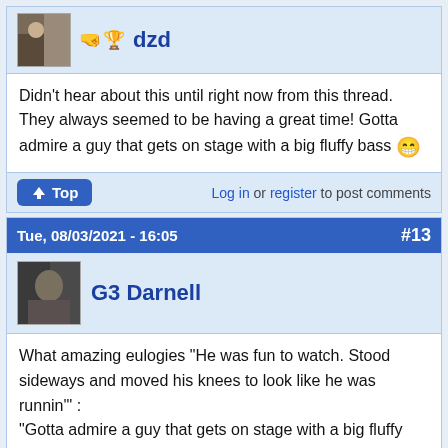[Figure (other): User avatar thumbnail for dzd]
dzd
Didn't hear about this until right now from this thread. They always seemed to be having a great time! Gotta admire a guy that gets on stage with a big fluffy bass 😁
Top | Log in or register to post comments
Tue, 08/03/2021 - 16:05  #13
[Figure (photo): User avatar thumbnail for G3 Darnell]
G3 Darnell
What amazing eulogies "He was fun to watch. Stood sideways and moved his knees to look like he was runnin'" :
"Gotta admire a guy that gets on stage with a big fluffy bass"
I guess that's what happens when you play bass! 😁
I discovered them when they recorded Tres Hombres and adored them till Recycler.
I reckon with a trio all three are crucial elements. Dusty Hill was a third of that fabulous sound.